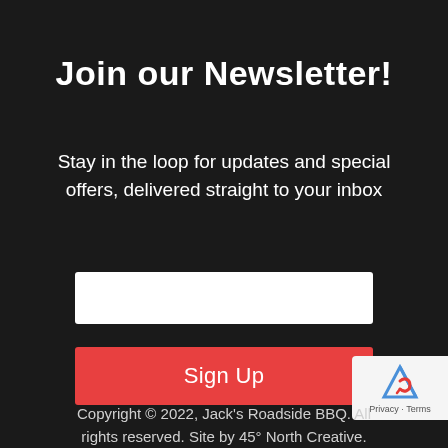Join our Newsletter!
Stay in the loop for updates and special offers, delivered straight to your inbox
[Figure (other): White empty email input field box]
Sign Up
Copyright © 2022, Jack's Roadside BBQ. All rights reserved. Site by 45° North Creative.